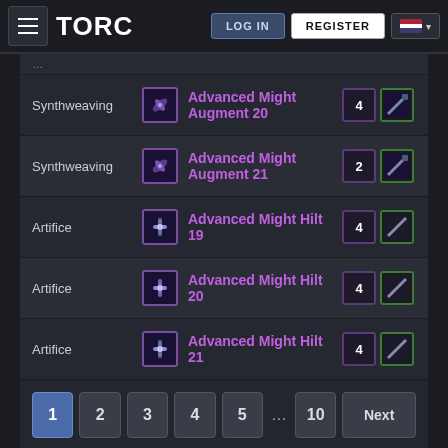TORC — LOG IN | REGISTER
| Skill | Icon | Item Name | Qty | Mat |
| --- | --- | --- | --- | --- |
| Synthweaving | [icon] | Advanced Might Augment 20 | 4 | [icon] |
| Synthweaving | [icon] | Advanced Might Augment 21 | 2 | [icon] |
| Artifice | [icon] | Advanced Might Hilt 19 | 4 | [icon] |
| Artifice | [icon] | Advanced Might Hilt 20 | 4 | [icon] |
| Artifice | [icon] | Advanced Might Hilt 21 | 4 | [icon] |
1  2  3  4  5  ...  10  Next
TORCommunity is supported primarily through advertisements.